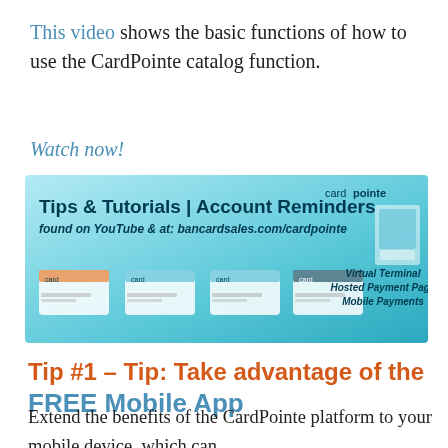This video shows the basic functions of how to use the CardPointe catalog function.
Watch now!
[Figure (illustration): Banner for Tips & Tutorials | Account Reminders found on YouTube & at: bancardsales.com/cardpointe. Shows Virtual Terminal, Hosted Payment Page, Mobile Payments with card images and cardpointe logo.]
Tip #1 – Tip: Take advantage of the FREE Mobile App
Extend the benefits of the CardPointe platform to your mobile device, which can